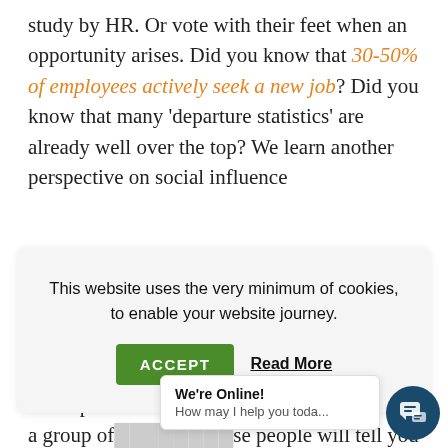study by HR. Or vote with their feet when an opportunity arises. Did you know that 30-50% of employees actively seek a new job? Did you know that many 'departure statistics' are already well over the top? We learn another perspective on social influence
This website uses the very minimum of cookies, to enable your website journey.
ACCEPT  Read More
“Group discussions, thinking that if you bring a group of ... people will tell you their point of view in an
We're Online! How may I help you toda...